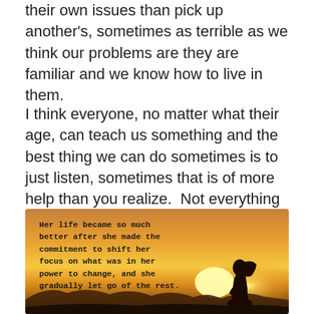their own issues than pick up another's, sometimes as terrible as we think our problems are they are familiar and we know how to live in them.
I think everyone, no matter what their age, can teach us something and the best thing we can do sometimes is to just listen, sometimes that is of more help than you realize.  Not everything requires a grand scale of assistance, sometimes simplicity is much more helpful.
[Figure (photo): Motivational image with a silhouette of a woman standing against a warm sunset background. Text overlay reads: 'Her life became so much better after she made the commitment to shift her focus on what was in her power to change, and she gradually let go of the rest.']